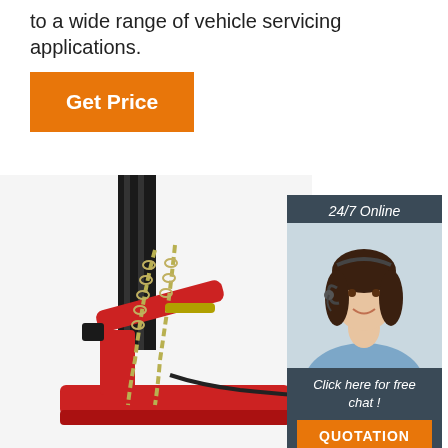to a wide range of vehicle servicing applications.
Get Price
[Figure (photo): Customer service representative with headset, 24/7 Online chat widget with orange QUOTATION button]
[Figure (photo): Red hydraulic floor jack / vehicle lift equipment with metal chains on white background]
[Figure (logo): TOP badge with orange dots arranged in arc above letters TOP in red]